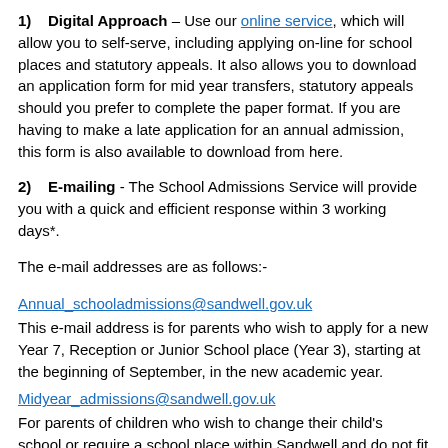1) Digital Approach – Use our online service, which will allow you to self-serve, including applying on-line for school places and statutory appeals. It also allows you to download an application form for mid year transfers, statutory appeals should you prefer to complete the paper format. If you are having to make a late application for an annual admission, this form is also available to download from here.
2) E-mailing - The School Admissions Service will provide you with a quick and efficient response within 3 working days*.
The e-mail addresses are as follows:-
Annual_schooladmissions@sandwell.gov.uk
This e-mail address is for parents who wish to apply for a new Year 7, Reception or Junior School place (Year 3), starting at the beginning of September, in the new academic year.
Midyear_admissions@sandwell.gov.uk
For parents of children who wish to change their child's school or require a school place within Sandwell and do not fit into the category above
Schoolappeals_admissions@sandwell.gov.uk